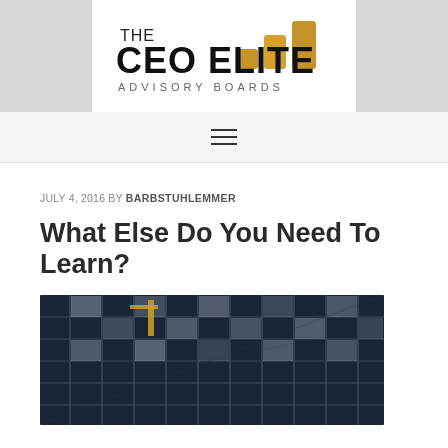[Figure (logo): The CEO Elite Advisory Boards logo with gold bar chart icon and bold text]
≡ (hamburger menu icon)
JULY 4, 2016 BY BARBSTUHLEMMER
What Else Do You Need To Learn?
[Figure (photo): Photo of a glass building facade with geometric grid pattern of windows, shot from below at an angle, with a yellow construction crane visible]